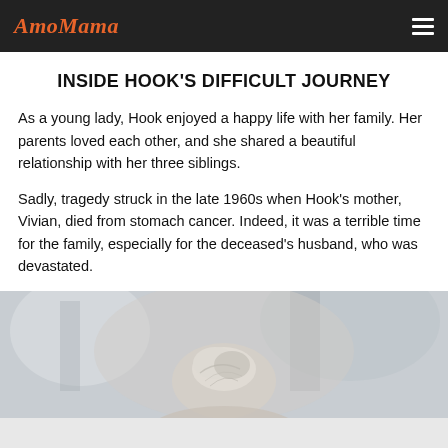AmoMama
INSIDE HOOK'S DIFFICULT JOURNEY
As a young lady, Hook enjoyed a happy life with her family. Her parents loved each other, and she shared a beautiful relationship with her three siblings.
Sadly, tragedy struck in the late 1960s when Hook's mother, Vivian, died from stomach cancer. Indeed, it was a terrible time for the family, especially for the deceased's husband, who was devastated.
[Figure (photo): Photo of an elderly woman with white/silver hair pulled up, viewed from behind/side, blurred background suggesting an outdoor urban setting.]